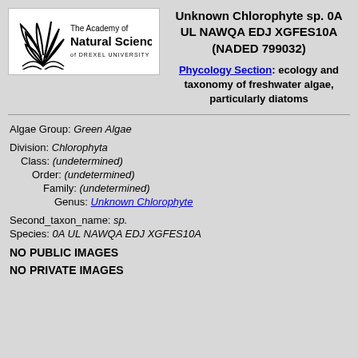[Figure (logo): The Academy of Natural Sciences of Drexel University logo with stylized plant/leaf graphic]
Unknown Chlorophyte sp. 0A UL NAWQA EDJ XGFES10A (NADED 799032)
Phycology Section: ecology and taxonomy of freshwater algae, particularly diatoms
Algae Group: Green Algae
Division: Chlorophyta
Class: (undetermined)
Order: (undetermined)
Family: (undetermined)
Genus: Unknown Chlorophyte
Second_taxon_name: sp.
Species: 0A UL NAWQA EDJ XGFES10A
NO PUBLIC IMAGES
NO PRIVATE IMAGES